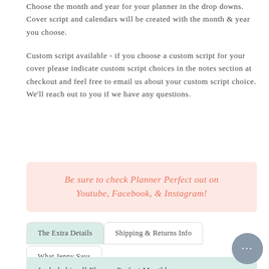Choose the month and year for your planner in the drop downs.  Cover script and calendars will be created with the month & year you choose.
Custom script available - if you choose a custom script for your cover please indicate custom script choices in the notes section at checkout and feel free to email us about your custom script choice.  We'll reach out to you if we have any questions.
Be sure to check Planner Perfect out on Youtube, Facebook, & Instagram!
The Extra Details
Shipping & Returns Info
What Jenny Says
Included in all Planner Perfect Monthly